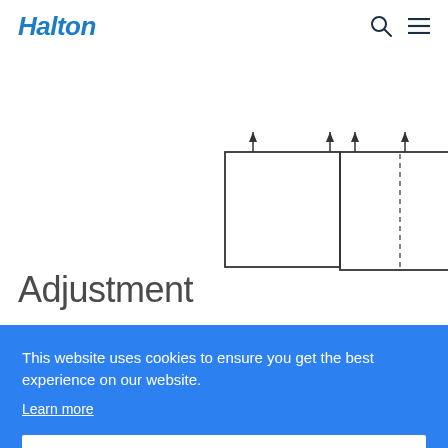Halton
[Figure (engineering-diagram): Two engineering diagrams showing top-view schematics of what appear to be diffuser or ventilation unit mounting configurations. Left diagram shows a square unit with two small arrows pointing downward from the top. Right diagram shows a similar square unit with dashed vertical center line and arrows indicating a different mounting configuration.]
Adjustment
This website uses cookies to ensure you get the best experience on our website.
Learn more
Got it!